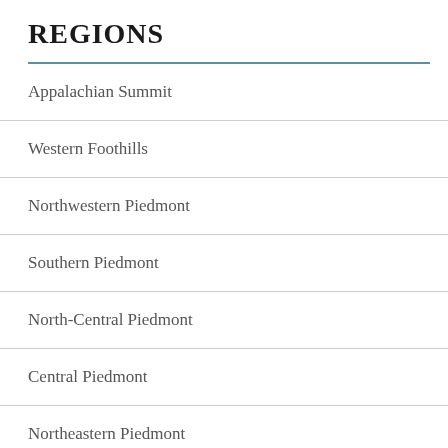REGIONS
Appalachian Summit
Western Foothills
Northwestern Piedmont
Southern Piedmont
North-Central Piedmont
Central Piedmont
Northeastern Piedmont
Northern Coastal Plain